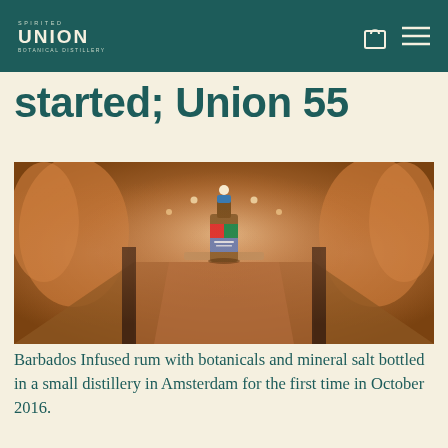SPIRITED UNION BOTANICAL DISTILLERY
started; Union 55
[Figure (photo): A bottle of Union 55 rum placed on a bar counter in a distillery, surrounded by copper pot stills and warm bokeh lighting]
Barbados Infused rum with botanicals and mineral salt bottled in a small distillery in Amsterdam for the first time in October 2016.